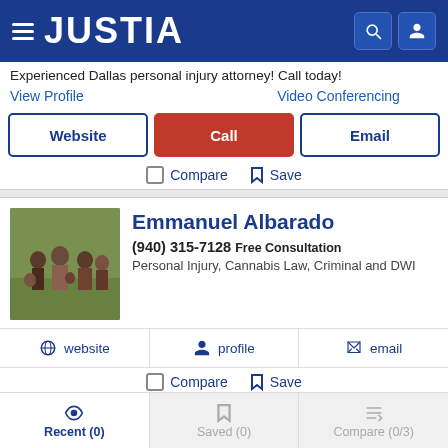JUSTIA
Experienced Dallas personal injury attorney! Call today!
View Profile   Video Conferencing
Website | Call | Email
Compare  Save
Emmanuel Albarado
(940) 315-7128 Free Consultation
Personal Injury, Cannabis Law, Criminal and DWI
website   profile   email
Compare  Save
Recent (0)   Saved (0)   Compare (0/3)